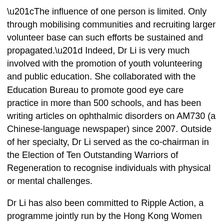“The influence of one person is limited. Only through mobilising communities and recruiting larger volunteer base can such efforts be sustained and propagated.” Indeed, Dr Li is very much involved with the promotion of youth volunteering and public education. She collaborated with the Education Bureau to promote good eye care practice in more than 500 schools, and has been writing articles on ophthalmic disorders on AM730 (a Chinese-language newspaper) since 2007. Outside of her specialty, Dr Li served as the co-chairman in the Election of Ten Outstanding Warriors of Regeneration to recognise individuals with physical or mental challenges.
Dr Li has also been committed to Ripple Action, a programme jointly run by the Hong Kong Women Doctors Association (HKWDA), Association of Women Accountants, the Hong Kong Federation of Women Lawyers, women nurses, social workers, and the International Social Service (Hong Kong Branch). The HKWDA provides medical services to underprivileged women, such as new immigrants and ethnic minorities. Cervical screening has been chosen as one of the leading projects to raise awareness on female health.